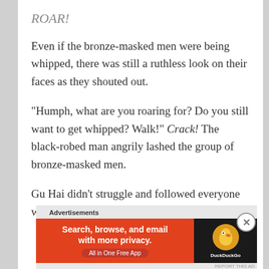ROAR!
Even if the bronze-masked men were being whipped, there was still a ruthless look on their faces as they shouted out.
"Humph, what are you roaring for? Do you still want to get whipped? Walk!" Crack! The black-robed man angrily lashed the group of bronze-masked men.
Gu Hai didn't struggle and followed everyone walking in front him.
[Figure (infographic): DuckDuckGo advertisement banner: orange background with text 'Search, browse, and email with more privacy. All in One Free App' and DuckDuckGo logo on black background.]